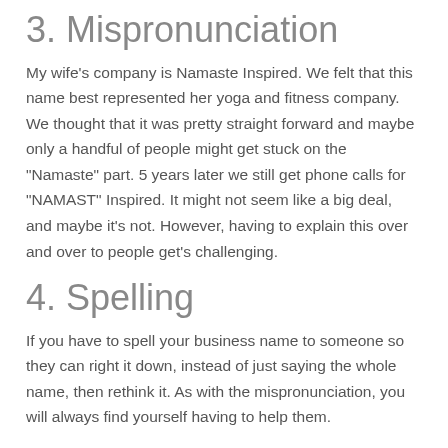3. Mispronunciation
My wife's company is Namaste Inspired. We felt that this name best represented her yoga and fitness company. We thought that it was pretty straight forward and maybe only a handful of people might get stuck on the "Namaste" part. 5 years later we still get phone calls for "NAMAST" Inspired. It might not seem like a big deal, and maybe it's not. However, having to explain this over and over to people get's challenging.
4. Spelling
If you have to spell your business name to someone so they can right it down, instead of just saying the whole name, then rethink it. As with the mispronunciation, you will always find yourself having to help them.